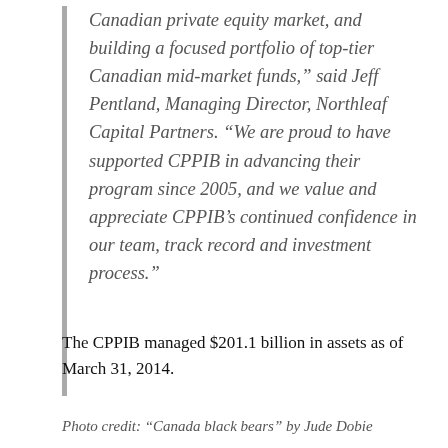Canadian private equity market, and building a focused portfolio of top-tier Canadian mid-market funds," said Jeff Pentland, Managing Director, Northleaf Capital Partners. “We are proud to have supported CPPIB in advancing their program since 2005, and we value and appreciate CPPIB’s continued confidence in our team, track record and investment process.”
The CPPIB managed $201.1 billion in assets as of March 31, 2014.
Photo credit: “Canada black bears” by Jude Dobie...